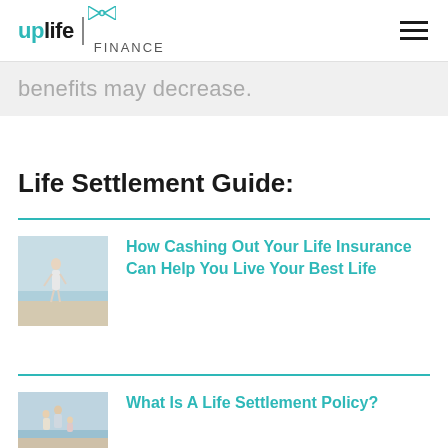uplife FINANCE
benefits may decrease.
Life Settlement Guide:
How Cashing Out Your Life Insurance Can Help You Live Your Best Life
What Is A Life Settlement Policy?